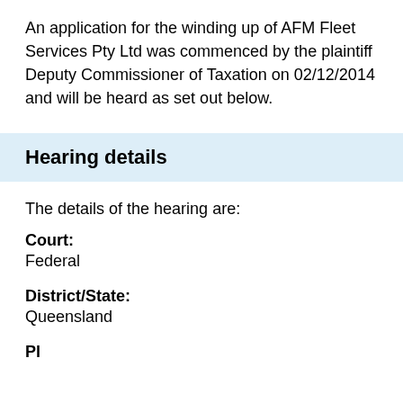An application for the winding up of AFM Fleet Services Pty Ltd was commenced by the plaintiff Deputy Commissioner of Taxation on 02/12/2014 and will be heard as set out below.
Hearing details
The details of the hearing are:
Court:
Federal
District/State:
Queensland